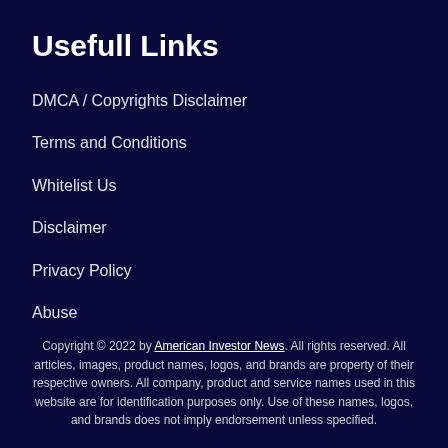Usefull Links
DMCA / Copyrights Disclaimer
Terms and Conditions
Whitelist Us
Disclaimer
Privacy Policy
Abuse
Copyright © 2022 by American Investor News. All rights reserved. All articles, images, product names, logos, and brands are property of their respective owners. All company, product and service names used in this website are for identification purposes only. Use of these names, logos, and brands does not imply endorsement unless specified.